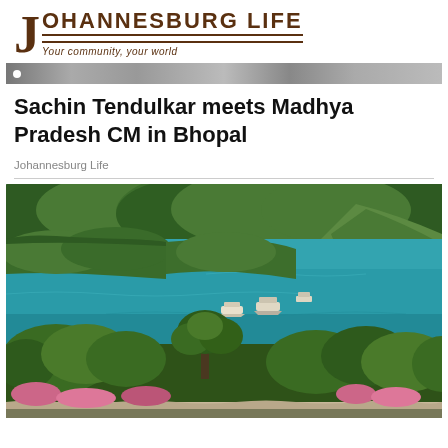Johannesburg Life — Your community, your world
[Figure (photo): Top banner strip with navigation elements]
Sachin Tendulkar meets Madhya Pradesh CM in Bhopal
Johannesburg Life
[Figure (photo): Aerial view of a large blue-green lake or bay surrounded by forested green hills, with boats on the water and tropical plants in the foreground. Likely Bhopal's Upper Lake (Bada Taal).]